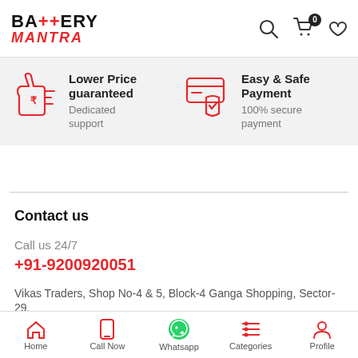BATTERY MANTRA
[Figure (infographic): Lower Price guaranteed icon - thumbs up with rupee symbol]
Lower Price guaranteed
Dedicated support
[Figure (infographic): Easy & Safe Payment icon - card with shield and checkmark]
Easy & Safe Payment
100% secure payment
Contact us
Call us 24/7
+91-9200920051
Vikas Traders, Shop No-4 & 5, Block-4 Ganga Shopping, Sector-29,
Home | Call Now | Whatsapp | Categories | Profile